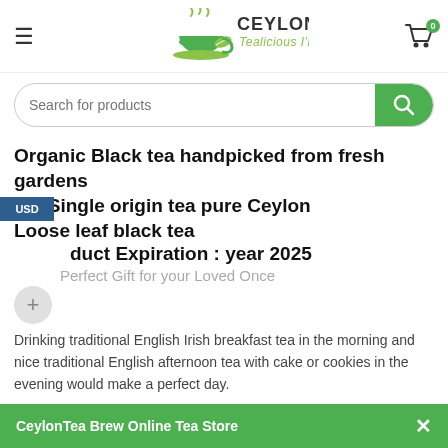Ceylon Tea Brew — Tealicious I'm Loving it
Search for products
Organic Black tea handpicked from fresh gardens the Single origin tea pure Ceylon Loose leaf black tea Product Expiration : year 2025
Perfect Gift for your Loved Once
Drinking traditional English Irish breakfast tea in the morning and nice traditional English afternoon tea with cake or cookies in the evening would make a perfect day.
Tea Preparation and brewing steps
CeylonTea Brew Online Tea Store